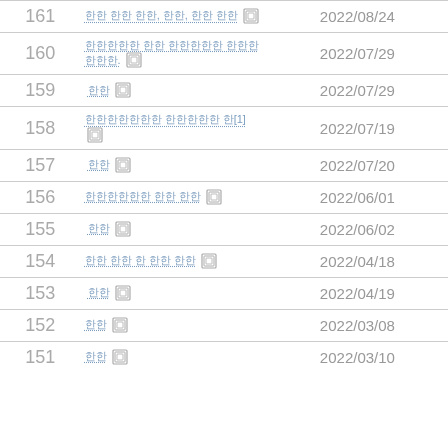| No. | Title | Date |
| --- | --- | --- |
| 161 | [Korean text] [icon] | 2022/08/24 |
| 160 | [Korean text] [icon] | 2022/07/29 |
| 159 | [Korean] [icon] | 2022/07/29 |
| 158 | [Korean text][1] [icon] | 2022/07/19 |
| 157 | [Korean] [icon] | 2022/07/20 |
| 156 | [Korean text] [icon] | 2022/06/01 |
| 155 | [Korean] [icon] | 2022/06/02 |
| 154 | [Korean text] [icon] | 2022/04/18 |
| 153 | [Korean] [icon] | 2022/04/19 |
| 152 | [Korean] [icon] | 2022/03/08 |
| 151 | [Korean] [icon] | 2022/03/10 |